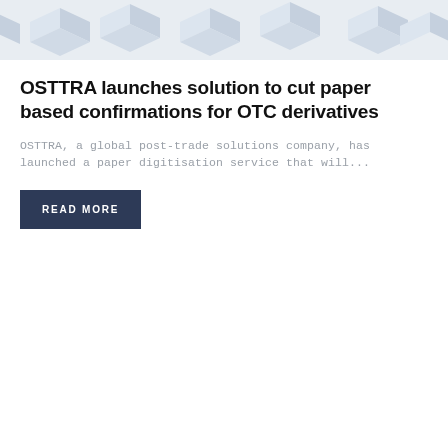[Figure (illustration): Abstract isometric geometric shapes in light blue and grey tones, suggesting a technology or digital theme with 3D box/cube-like structures arranged in a pattern.]
OSTTRA launches solution to cut paper based confirmations for OTC derivatives
OSTTRA, a global post-trade solutions company, has launched a paper digitisation service that will...
READ MORE